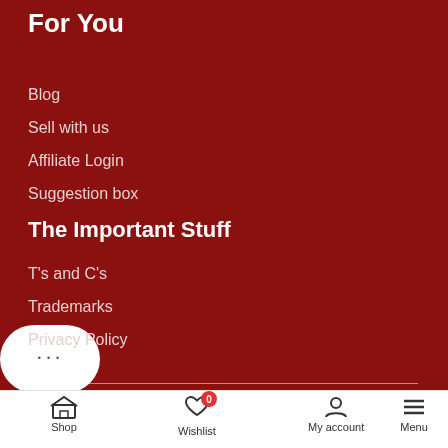For You
Blog
Sell with us
Affiliate Login
Suggestion box
The Important Stuff
T's and C's
Trademarks
Privacy Policy
KillerDeals.co.za © 2022
Shop  Wishlist  My account  Menu